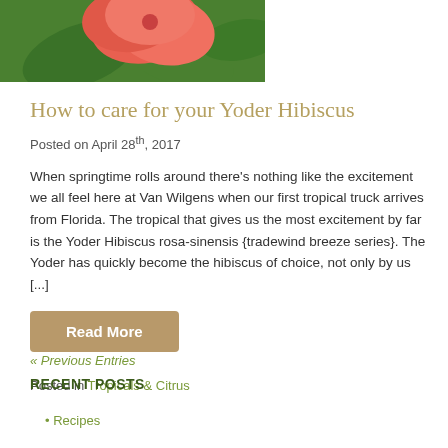[Figure (photo): Close-up photo of a pink/coral hibiscus flower with green leaves in background, cropped at top of page]
How to care for your Yoder Hibiscus
Posted on April 28th, 2017
When springtime rolls around there's nothing like the excitement we all feel here at Van Wilgens when our first tropical truck arrives from Florida. The tropical that gives us the most excitement by far is the Yoder Hibiscus rosa-sinensis {tradewind breeze series}. The Yoder has quickly become the hibiscus of choice, not only by us [...]
Read More
Posted in Tropicals & Citrus
« Previous Entries
RECENT POSTS
Recipes